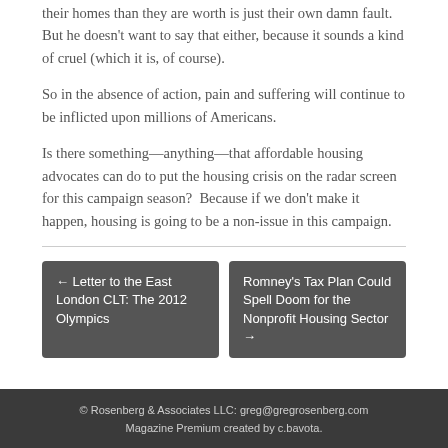their homes than they are worth is just their own damn fault.  But he doesn't want to say that either, because it sounds a kind of cruel (which it is, of course).
So in the absence of action, pain and suffering will continue to be inflicted upon millions of Americans.
Is there something—anything—that affordable housing advocates can do to put the housing crisis on the radar screen for this campaign season?  Because if we don't make it happen, housing is going to be a non-issue in this campaign.
← Letter to the East London CLT: The 2012 Olympics
Romney's Tax Plan Could Spell Doom for the Nonprofit Housing Sector →
© Rosenberg & Associates LLC: greg@gregrosenberg.com
Magazine Premium created by c.bavota.